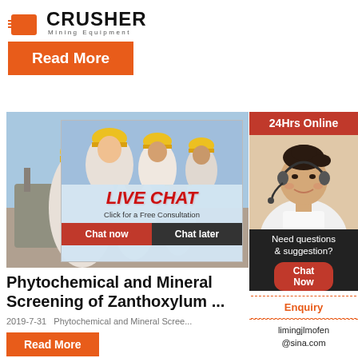[Figure (logo): Crusher Mining Equipment logo with red shopping bag icon and bold CRUSHER text]
Read More
[Figure (photo): Live Chat popup overlay with construction workers in hard hats background, LIVE CHAT title in red italic, 'Click for a Free Consultation' subtitle, Chat now and Chat later buttons. 24Hrs Online red banner top right. Customer service woman with headset on right side.]
Phytochemical and Mineral Screening of Zanthoxylum ...
2019-7-31   Phytochemical and Mineral Scree...
Read More
24Hrs Online
Need questions & suggestion?
Chat Now
Enquiry
limingjlmofen@sina.com